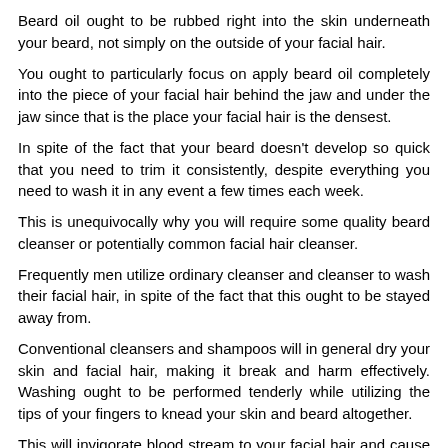Beard oil ought to be rubbed right into the skin underneath your beard, not simply on the outside of your facial hair.
You ought to particularly focus on apply beard oil completely into the piece of your facial hair behind the jaw and under the jaw since that is the place your facial hair is the densest.
In spite of the fact that your beard doesn't develop so quick that you need to trim it consistently, despite everything you need to wash it in any event a few times each week.
This is unequivocally why you will require some quality beard cleanser or potentially common facial hair cleanser.
Frequently men utilize ordinary cleanser and cleanser to wash their facial hair, in spite of the fact that this ought to be stayed away from.
Conventional cleansers and shampoos will in general dry your skin and facial hair, making it break and harm effectively. Washing ought to be performed tenderly while utilizing the tips of your fingers to knead your skin and beard altogether.
This will invigorate blood stream to your facial hair and cause it to become more beneficial.